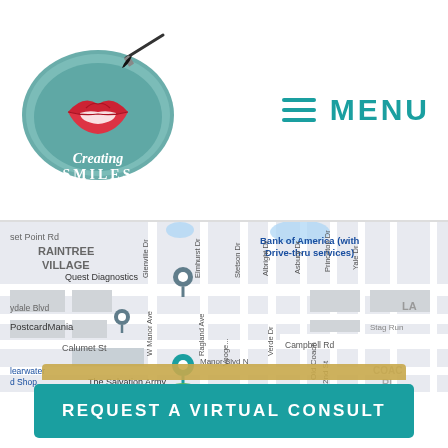[Figure (logo): Creating Smiles dental logo — oval teal/mint shape with red lips and a paintbrush, text 'Creating Smiles' in cursive]
MENU
[Figure (map): Google Maps screenshot showing Raintree Village area with landmarks: Bank of America with Drive-thru services, Quest Diagnostics, PostcardMania, Calumet St, The Salvation Army, Manor Blvd N, Campbell Rd, Stag Run, Old Coach. Streets include Glenville Dr, Elmhurst Dr, Stetson Dr, Albright Dr, Asbury Dr, Princeton Dr, Yale Dr, W Manor Ave, Ragland Ave, Verde Dr, 2nd St.]
REQUEST A VIRTUAL CONSULT